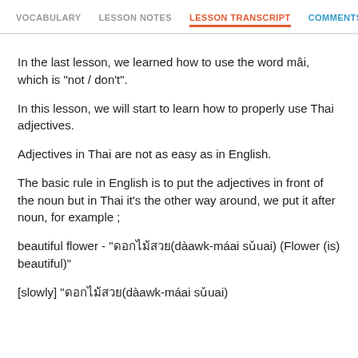VOCABULARY  LESSON NOTES  LESSON TRANSCRIPT  COMMENTS
In the last lesson, we learned how to use the word mâi, which is "not / don't".
In this lesson, we will start to learn how to properly use Thai adjectives.
Adjectives in Thai are not as easy as in English.
The basic rule in English is to put the adjectives in front of the noun but in Thai it's the other way around, we put it after noun, for example ;
beautiful flower - "ดอกไม้สวย(dàawk-máai sǔuai) (Flower (is) beautiful)"
[slowly] "ดอกไม้สวย(dàawk-máai sǔuai)